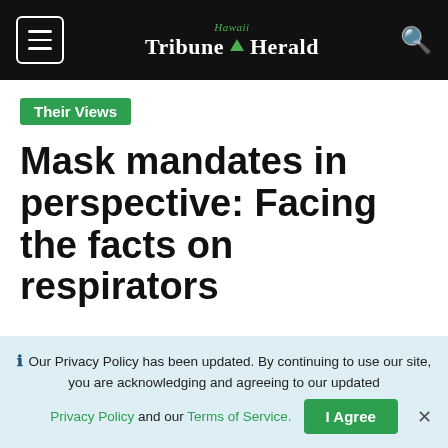Hawaii Tribune Herald
Their Views
Mask mandates in perspective: Facing the facts on respirators
Our Privacy Policy has been updated. By continuing to use our site, you are acknowledging and agreeing to our updated Privacy Policy and our Terms of Service.